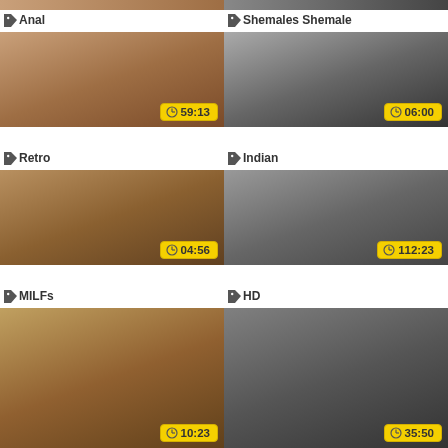[Figure (screenshot): Video thumbnail grid with 6 video cards in 2 columns. Row 1: Anal (59:13), Shemales Shemale (06:00). Row 2: Retro (04:56), Indian (112:23). Row 3: MILFs (10:23), HD (35:50).]